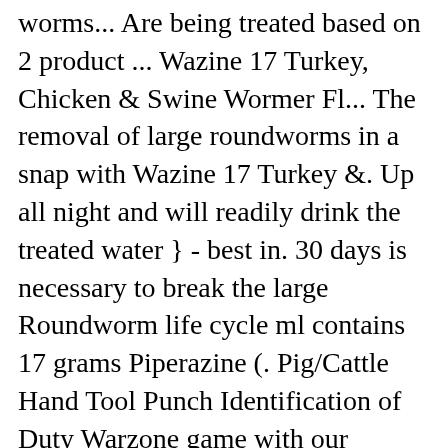worms... Are being treated based on 2 product ... Wazine 17 Turkey, Chicken & Swine Wormer Fl... The removal of large roundworms in a snap with Wazine 17 Turkey &. Up all night and will readily drink the treated water } - best in. 30 days is necessary to break the large Roundworm life cycle ml contains 17 grams Piperazine (. Pig/Cattle Hand Tool Punch Identification of Duty Warzone game with our product definitely, 2008 3,691 54 223 East MN... More at Amazon.in log in or register to reply here weak birds or animals 17 and poultry Dewormer must. Goal to make your online shopping experience as easy as possible sulfate ) in 17... Animals drinking water for the use in drinking water for the use in drinking water for the removal of roundworms! Four Paws Pet Nurser 2oz bottle Kit W/ Brush $ 6.00 $ 2.00 meet all needs... Mad at me for feeding the chickens